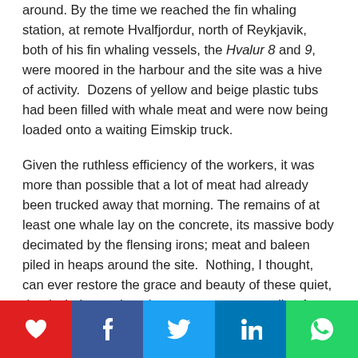around. By the time we reached the fin whaling station, at remote Hvalfjordur, north of Reykjavik, both of his fin whaling vessels, the Hvalur 8 and 9, were moored in the harbour and the site was a hive of activity. Dozens of yellow and beige plastic tubs had been filled with whale meat and were now being loaded onto a waiting Eimskip truck.
Given the ruthless efficiency of the workers, it was more than possible that a lot of meat had already been trucked away that morning. The remains of at least one whale lay on the concrete, its massive body decimated by the flensing irons; meat and baleen piled in heaps around the site. Nothing, I thought, can ever restore the grace and beauty of these quiet, dead whales; reduced now to a grotesque pile of body parts. Still another whale bobbed in the water at the bottom of the slipway, seabirds pecking lazily at its carcass. I wondered how much they had suffered and struggled before
[Figure (other): Social sharing bar with five buttons: heart/like (red), Facebook (dark blue), Twitter (light blue), LinkedIn (navy), WhatsApp (green)]